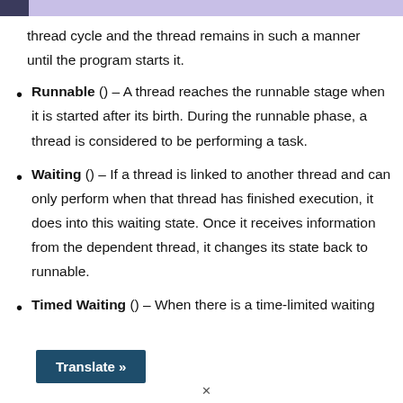thread cycle and the thread remains in such a manner until the program starts it.
Runnable () – A thread reaches the runnable stage when it is started after its birth. During the runnable phase, a thread is considered to be performing a task.
Waiting () – If a thread is linked to another thread and can only perform when that thread has finished execution, it does into this waiting state. Once it receives information from the dependent thread, it changes its state back to runnable.
Timed Waiting () – When there is a time-limited waiting